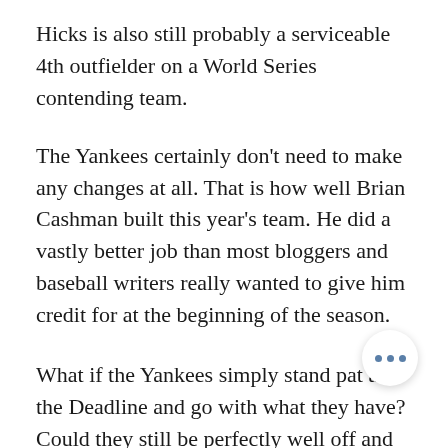Hicks is also still probably a serviceable 4th outfielder on a World Series contending team.
The Yankees certainly don't need to make any changes at all. That is how well Brian Cashman built this year's team. He did a vastly better job than most bloggers and baseball writers really wanted to give him credit for at the beginning of the season.
What if the Yankees simply stand pat at the Deadline and go with what they have? Could they still be perfectly well off and even be considered a favorite to win the World Series?